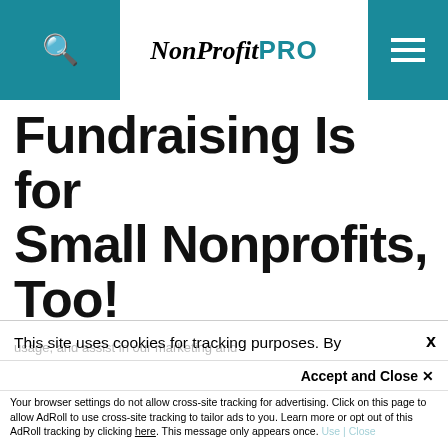NonProfit PRO
Fundraising Is for Small Nonprofits, Too!
By Jeff Schreifels
This site uses cookies for tracking purposes. By continuing to browse our website, you agree to the storing of first- and third-party cookies on your device to enhance site navigation, analyze site usage, and assist in our marketing and
Accept and Close ✕
Your browser settings do not allow cross-site tracking for advertising. Click on this page to allow AdRoll to use cross-site tracking to tailor ads to you. Learn more or opt out of this AdRoll tracking by clicking here. This message only appears once.